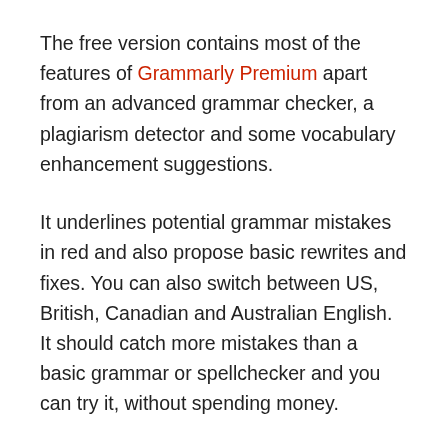The free version contains most of the features of Grammarly Premium apart from an advanced grammar checker, a plagiarism detector and some vocabulary enhancement suggestions.
It underlines potential grammar mistakes in red and also propose basic rewrites and fixes. You can also switch between US, British, Canadian and Australian English. It should catch more mistakes than a basic grammar or spellchecker and you can try it, without spending money.
When you're ready to upgrade to the paid version, Grammarly Premium contains a number of additional checks and tools for those who write and publish